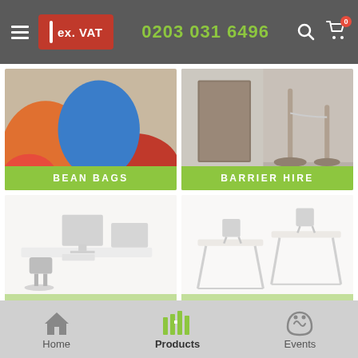ex. VAT | 0203 031 6496
[Figure (photo): Bean bags in orange, blue and red colors]
BEAN BAGS
[Figure (photo): Barrier hire - metal stanchion barriers in a corridor]
BARRIER HIRE
[Figure (photo): Office furniture hire - desks and chairs in an office]
OFFICE FURNITURE HIRE
[Figure (photo): Educational furniture - folding tables and chairs]
EDUCATIONAL FURNITURE
Home | Products | Events